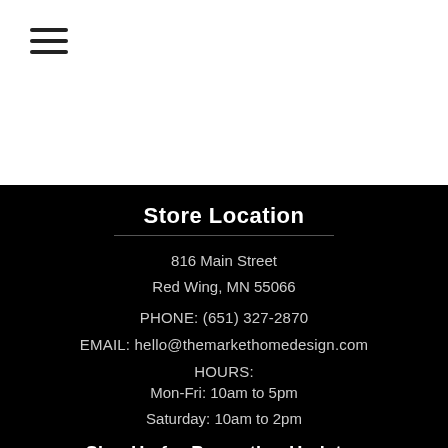[Figure (other): Hamburger menu icon (three horizontal lines) in the top-left corner on white background]
Store Location
816 Main Street
Red Wing, MN 55066
PHONE: (651) 327-2870
EMAIL: hello@themarkethomedesign.com
HOURS:
Mon-Fri: 10am to 5pm
Saturday: 10am to 2pm
Sign Up for Promotion Updates